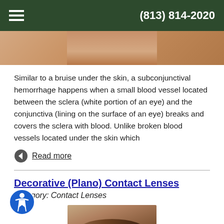(813) 814-2020
[Figure (photo): Cropped photo of a person's face near the top of the page]
Similar to a bruise under the skin, a subconjunctival hemorrhage happens when a small blood vessel located between the sclera (white portion of an eye) and the conjunctiva (lining on the surface of an eye) breaks and covers the sclera with blood. Unlike broken blood vessels located under the skin which
Read more
Decorative (Plano) Contact Lenses
Category: Contact Lenses
[Figure (photo): Close-up photo of a person's eye with a decorative/colored contact lens being placed on a fingertip]